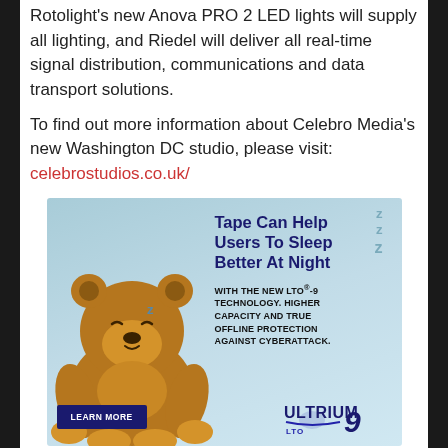Rotolight's new Anova PRO 2 LED lights will supply all lighting, and Riedel will deliver all real-time signal distribution, communications and data transport solutions.
To find out more information about Celebro Media's new Washington DC studio, please visit: celebrostudios.co.uk/
[Figure (illustration): Advertisement for LTO Ultrium 9 tape technology featuring a sleeping teddy bear with 'zzz' symbols. Headline: 'Tape Can Help Users To Sleep Better At Night'. Subtext: 'WITH THE NEW LTO®-9 TECHNOLOGY. HIGHER CAPACITY AND TRUE OFFLINE PROTECTION AGAINST CYBERATTACK.' Button: 'LEARN MORE'. Ultrium LTO 9 logo at bottom right.]